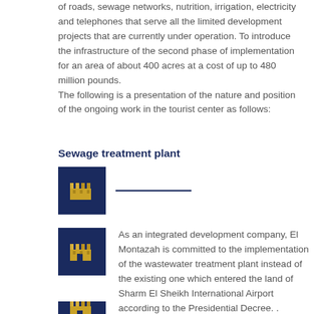of roads, sewage networks, nutrition, irrigation, electricity and telephones that serve all the limited development projects that are currently under operation. To introduce the infrastructure of the second phase of implementation for an area of about 400 acres at a cost of up to 480 million pounds.
The following is a presentation of the nature and position of the ongoing work in the tourist center as follows:
Sewage treatment plant
[Figure (logo): Gold castle/tower icon on dark navy blue square background, with a horizontal navy line to the right]
[Figure (logo): Gold castle/tower icon on dark navy blue square background]
As an integrated development company, El Montazah is committed to the implementation of the wastewater treatment plant instead of the existing one which entered the land of Sharm El Sheikh International Airport according to the Presidential Decree. .
[Figure (logo): Gold castle/tower icon on dark navy blue square background (partially visible at bottom)]